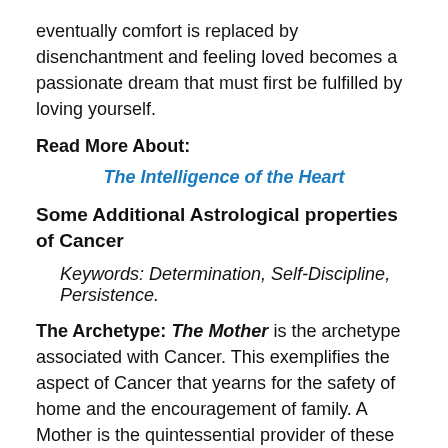eventually comfort is replaced by disenchantment and feeling loved becomes a passionate dream that must first be fulfilled by loving yourself.
Read More About:
The Intelligence of the Heart
Some Additional Astrological properties of Cancer
Keywords: Determination, Self-Discipline, Persistence.
The Archetype: The Mother is the archetype associated with Cancer. This exemplifies the aspect of Cancer that yearns for the safety of home and the encouragement of family. A Mother is the quintessential provider of these qualities. Hers is the physical body that housed and nourished as life grew within. Hers was the physical body